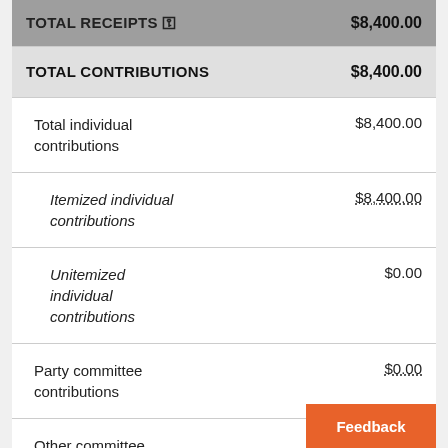| Description | Amount |
| --- | --- |
| TOTAL RECEIPTS | $8,400.00 |
| TOTAL CONTRIBUTIONS | $8,400.00 |
| Total individual contributions | $8,400.00 |
| Itemized individual contributions | $8,400.00 |
| Unitemized individual contributions | $0.00 |
| Party committee contributions | $0.00 |
| Other committee contributions | $0.00 |
| Presidential public funds |  |